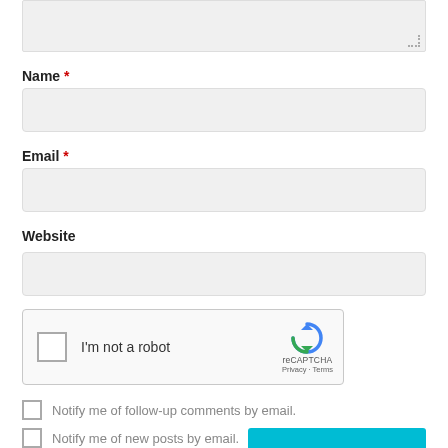[Figure (screenshot): Top portion of a textarea input field (cropped), gray background with resize handle at bottom-right corner]
Name *
[Figure (screenshot): Name text input field, gray background, rounded corners]
Email *
[Figure (screenshot): Email text input field, gray background, rounded corners]
Website
[Figure (screenshot): Website text input field, gray background, rounded corners]
[Figure (screenshot): reCAPTCHA widget: checkbox labeled I'm not a robot with reCAPTCHA logo, Privacy and Terms links]
Notify me of follow-up comments by email.
Notify me of new posts by email.
[Figure (screenshot): Teal/cyan submit button (partially visible at bottom)]